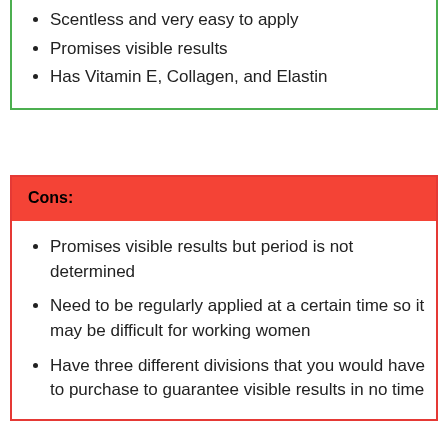Scentless and very easy to apply
Promises visible results
Has Vitamin E, Collagen, and Elastin
Cons:
Promises visible results but period is not determined
Need to be regularly applied at a certain time so it may be difficult for working women
Have three different divisions that you would have to purchase to guarantee visible results in no time